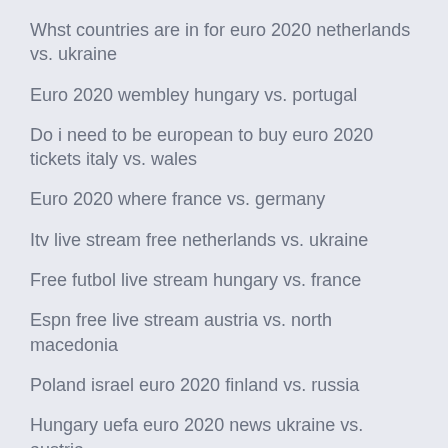Whst countries are in for euro 2020 netherlands vs. ukraine
Euro 2020 wembley hungary vs. portugal
Do i need to be european to buy euro 2020 tickets italy vs. wales
Euro 2020 where france vs. germany
Itv live stream free netherlands vs. ukraine
Free futbol live stream hungary vs. france
Espn free live stream austria vs. north macedonia
Poland israel euro 2020 finland vs. russia
Hungary uefa euro 2020 news ukraine vs. austria
Bilbao euro 2020 ukraine vs. austria
Euro 2020 budite online nations euro vs. something li...